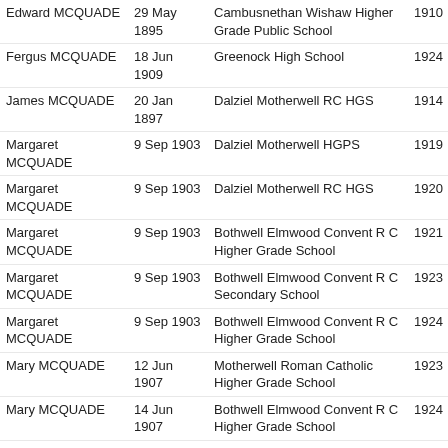| Name | Date | School | Year |  |
| --- | --- | --- | --- | --- |
| Edward MCQUADE | 29 May 1895 | Cambusnethan Wishaw Higher Grade Public School | 1910 | Order now |
| Fergus MCQUADE | 18 Jun 1909 | Greenock High School | 1924 | Order now |
| James MCQUADE | 20 Jan 1897 | Dalziel Motherwell RC HGS | 1914 | Order now |
| Margaret MCQUADE | 9 Sep 1903 | Dalziel Motherwell HGPS | 1919 | Order now |
| Margaret MCQUADE | 9 Sep 1903 | Dalziel Motherwell RC HGS | 1920 | Order now |
| Margaret MCQUADE | 9 Sep 1903 | Bothwell Elmwood Convent R C Higher Grade School | 1921 | Order now |
| Margaret MCQUADE | 9 Sep 1903 | Bothwell Elmwood Convent R C Secondary School | 1923 | Order now |
| Margaret MCQUADE | 9 Sep 1903 | Bothwell Elmwood Convent R C Higher Grade School | 1924 | Order now |
| Mary MCQUADE | 12 Jun 1907 | Motherwell Roman Catholic Higher Grade School | 1923 | Order now |
| Mary MCQUADE | 14 Jun 1907 | Bothwell Elmwood Convent R C Higher Grade School | 1924 | Order now |